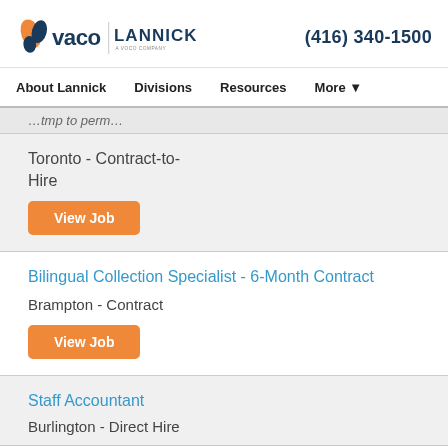vaco | LANNICK A VOCO COMPANY   (416) 340-1500
About Lannick   Divisions   Resources   More
…tmp to perm…
Toronto - Contract-to-Hire
View Job
Bilingual Collection Specialist - 6-Month Contract
Brampton - Contract
View Job
Staff Accountant
Burlington - Direct Hire